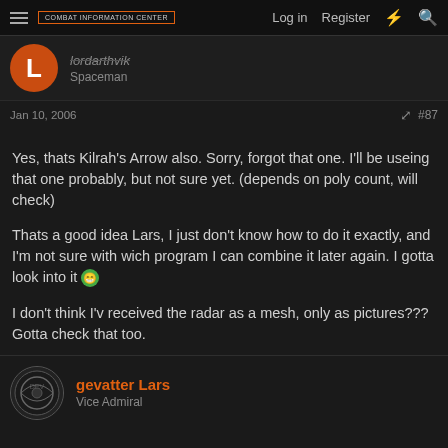COMBAT INFORMATION CENTER | Log in | Register
lordarthvik
Spaceman
Jan 10, 2006  #87
Yes, thats Kilrah's Arrow also. Sorry, forgot that one. I'll be useing that one probably, but not sure yet. (depends on poly count, will check)

Thats a good idea Lars, I just don't know how to do it exactly, and I'm not sure with wich program I can combine it later again. I gotta look into it 😄

I don't think I'v received the radar as a mesh, only as pictures??? Gotta check that too.
gevatter Lars
Vice Admiral